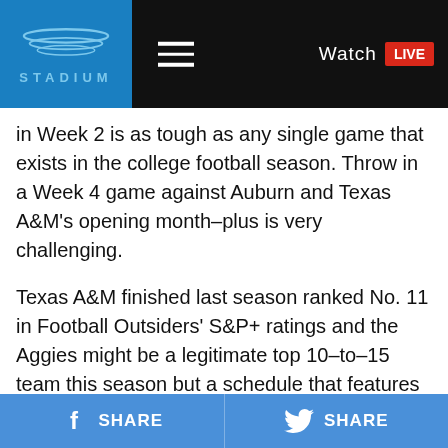Stadium — Watch LIVE
in Week 2 is as tough as any single game that exists in the college football season. Throw in a Week 4 game against Auburn and Texas A&M's opening month–plus is very challenging.
Texas A&M finished last season ranked No. 11 in Football Outsiders' S&P+ ratings and the Aggies might be a legitimate top 10–to–15 team this season but a schedule that features road games at Clemson, Georgia and LSU, plus home games against Alabama and Auburn does them no favors.
24. Northwestern
Aug. 31: @ Stanford
SHARE   SHARE